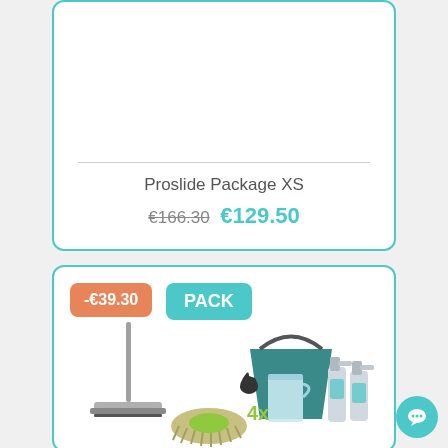[Figure (photo): Product card showing Proslide Package XS with product image area at top, horizontal divider, product title, and pricing]
Proslide Package XS
€166.30 €129.50
[Figure (photo): Package card with -€39.30 orange discount badge, PACK teal badge, images of a floor mop/squeegee, a bucket with cleaning supplies and spray bottles, and mop head refills with 4x label]
-€39.30
PACK